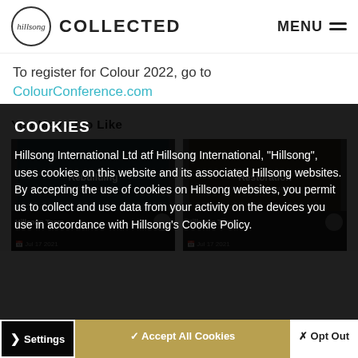Hillsong COLLECTED | MENU
To register for Colour 2022, go to ColourConference.com
You May Also Like
[Figure (photo): Two thumbnail cards showing women, labeled 'Rebuilding' and 'Restoration', each attributed to Hillsong Team, dated Jul 17 2021]
COOKIES

Hillsong International Ltd atf Hillsong International, "Hillsong", uses cookies on this website and its associated Hillsong websites. By accepting the use of cookies on Hillsong websites, you permit us to collect and use data from your activity on the devices you use in accordance with Hillsong's Cookie Policy.
❯ Settings   ✓ Accept All Cookies   ✗ Opt Out